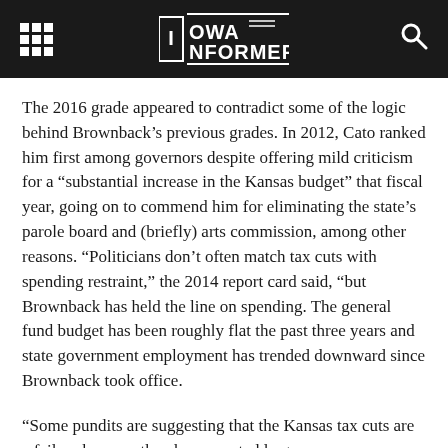Iowa Informer
The 2016 grade appeared to contradict some of the logic behind Brownback’s previous grades. In 2012, Cato ranked him first among governors despite offering mild criticism for a “substantial increase in the Kansas budget” that fiscal year, going on to commend him for eliminating the state’s parole board and (briefly) arts commission, among other reasons. “Politicians don’t often match tax cuts with spending restraint,” the 2014 report card said, “but Brownback has held the line on spending. The general fund budget has been roughly flat the past three years and state government employment has trended downward since Brownback took office.
“Some pundits are suggesting that the Kansas tax cuts are a failure because they have created large